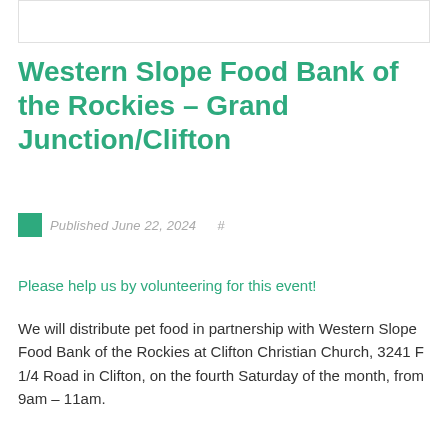[Figure (other): White image box with light border at top of page]
Western Slope Food Bank of the Rockies – Grand Junction/Clifton
Published June 22, 2024  #
Please help us by volunteering for this event!
We will distribute pet food in partnership with Western Slope Food Bank of the Rockies at Clifton Christian Church, 3241 F 1/4 Road in Clifton, on the fourth Saturday of the month, from 9am – 11am.